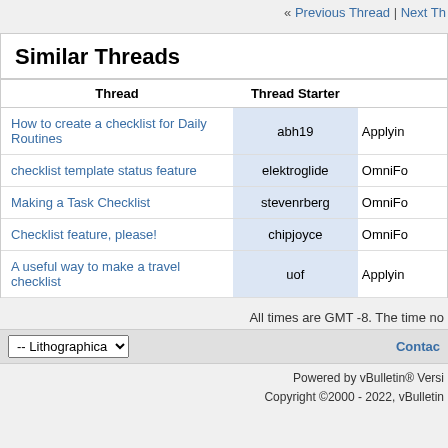« Previous Thread | Next Thread »
Similar Threads
| Thread | Thread Starter |  |
| --- | --- | --- |
| How to create a checklist for Daily Routines | abh19 | Applying… |
| checklist template status feature | elektroglide | OmniFo… |
| Making a Task Checklist | stevenrberg | OmniFo… |
| Checklist feature, please! | chipjoyce | OmniFo… |
| A useful way to make a travel checklist | uof | Applying… |
All times are GMT -8. The time no…
-- Lithographica    Contact…
Powered by vBulletin® Version…
Copyright ©2000 - 2022, vBulletin…